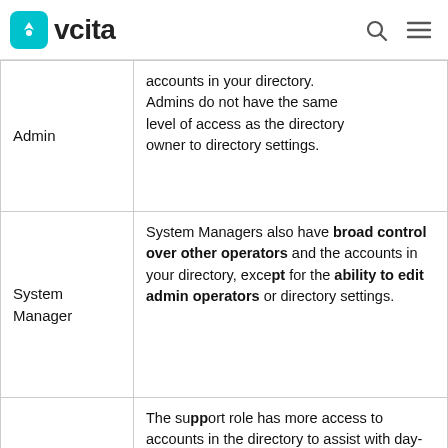vcita
| Role | Description |
| --- | --- |
| Admin | accounts in your directory. Admins do not have the same level of access as the directory owner to directory settings. |
| System Manager | System Managers also have broad control over other operators and the accounts in your directory, except for the ability to edit admin operators or directory settings. |
| Support | The support role has more access to accounts in the directory to assist with day-to-day support. Support operators |